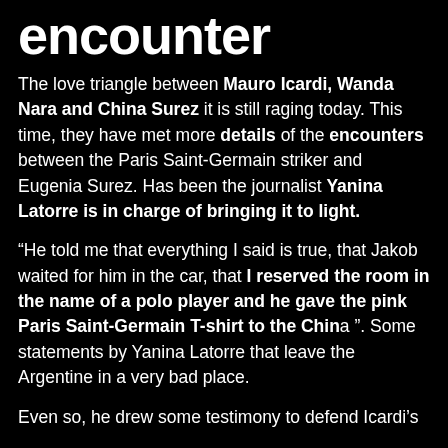encounter
The love triangle between Mauro Icardi, Wanda Nara and China Surez it is still raging today. This time, they have met more details of the encounters between the Paris Saint-Germain striker and Eugenia Surez. Has been the journalist Yanina Latorre is in charge of bringing it to light.
“He told me that everything I said is true, that Jakob waited for him in the car, that I reserved the room in the name of a polo player and he gave the pink Paris Saint-Germain T-shirt to the China”. Some statements by Yanina Latorre that leave the Argentine in a very bad place.
Even so, he drew some testimony to defend Icardi’s